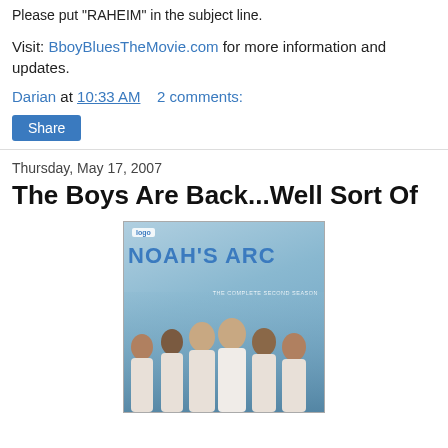Please put "RAHEIM" in the subject line.
Visit: BboyBluesTheMovie.com for more information and updates.
Darian at 10:33 AM    2 comments:
Share
Thursday, May 17, 2007
The Boys Are Back...Well Sort Of
[Figure (photo): DVD cover for Noah's Arc: The Complete Second Season on Logo network, showing six men dressed in white]